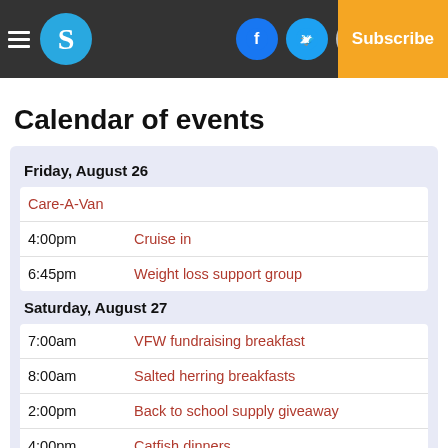Navigation bar with logo, social icons, Log In, Subscribe
Calendar of events
| Time | Event |
| --- | --- |
| Friday, August 26 |  |
|  | Care-A-Van |
| 4:00pm | Cruise in |
| 6:45pm | Weight loss support group |
| Saturday, August 27 |  |
| 7:00am | VFW fundraising breakfast |
| 8:00am | Salted herring breakfasts |
| 2:00pm | Back to school supply giveaway |
| 4:00pm | Catfish dinners |
| 5:30 | … |